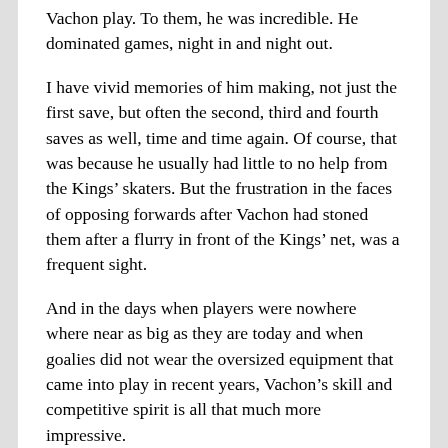Vachon play. To them, he was incredible. He dominated games, night in and night out.
I have vivid memories of him making, not just the first save, but often the second, third and fourth saves as well, time and time again. Of course, that was because he usually had little to no help from the Kings’ skaters. But the frustration in the faces of opposing forwards after Vachon had stoned them after a flurry in front of the Kings’ net, was a frequent sight.
And in the days when players were nowhere where near as big as they are today and when goalies did not wear the oversized equipment that came into play in recent years, Vachon’s skill and competitive spirit is all that much more impressive.